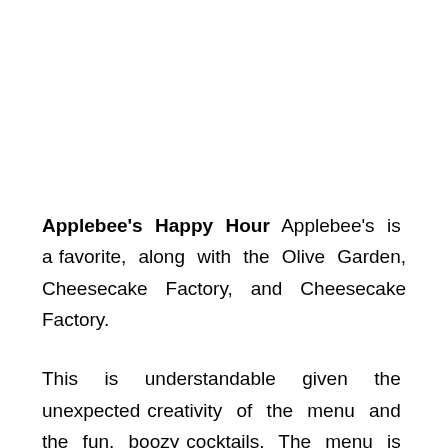Applebee's Happy Hour Applebee's is a favorite, along with the Olive Garden, Cheesecake Factory, and Cheesecake Factory.
This is understandable given the unexpected creativity of the menu and the fun, boozy cocktails. The menu is consistent no matter where you visit.